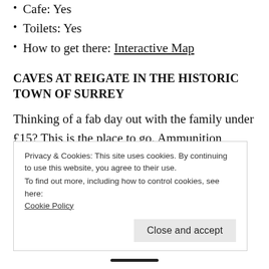Cafe: Yes
Toilets: Yes
How to get there: Interactive Map
CAVES AT REIGATE IN THE HISTORIC TOWN OF SURREY
Thinking of a fab day out with the family under £15? This is the place to go. Ammunition storage during WWI and air-
Privacy & Cookies: This site uses cookies. By continuing to use this website, you agree to their use.
To find out more, including how to control cookies, see here: Cookie Policy